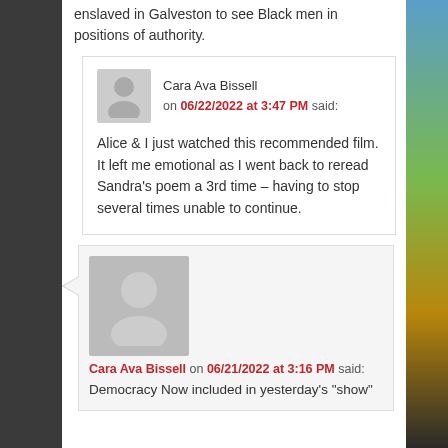enslaved in Galveston to see Black men in positions of authority.
Cara Ava Bissell on 06/22/2022 at 3:47 PM said:
Alice & I just watched this recommended film. It left me emotional as I went back to reread Sandra’s poem a 3rd time – having to stop several times unable to continue.
Cara Ava Bissell on 06/21/2022 at 3:16 PM said:
Democracy Now included in yesterday’s “show”